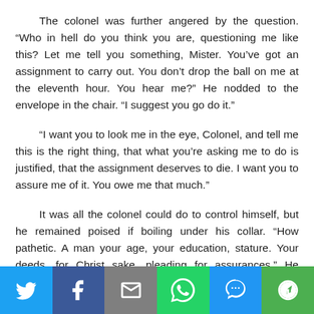The colonel was further angered by the question. “Who in hell do you think you are, questioning me like this? Let me tell you something, Mister. You’ve got an assignment to carry out. You don’t drop the ball on me at the eleventh hour. You hear me?” He nodded to the envelope in the chair. “I suggest you go do it.”
“I want you to look me in the eye, Colonel, and tell me this is the right thing, that what you’re asking me to do is justified, that the assignment deserves to die. I want you to assure me of it. You owe me that much.”
It was all the colonel could do to control himself, but he remained poised if boiling under his collar. “How pathetic. A man your age, your education, stature. Your deeds, for Christ sake, pleading for assurances.” He breathed himself down to a calmer state. “I’ve never asked you, or any of you, to do anything I
[Figure (infographic): Social media share bar with six buttons: Twitter (blue bird icon), Facebook (dark blue f icon), Email (grey envelope icon), WhatsApp (green phone/chat icon), SMS (blue SMS icon), More (green circular arrow icon).]